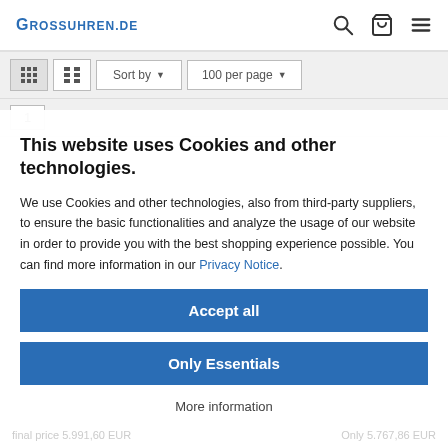GROSSUHREN.DE
Sort by  100 per page  1
This website uses Cookies and other technologies.
We use Cookies and other technologies, also from third-party suppliers, to ensure the basic functionalities and analyze the usage of our website in order to provide you with the best shopping experience possible. You can find more information in our Privacy Notice.
Accept all
Only Essentials
More information